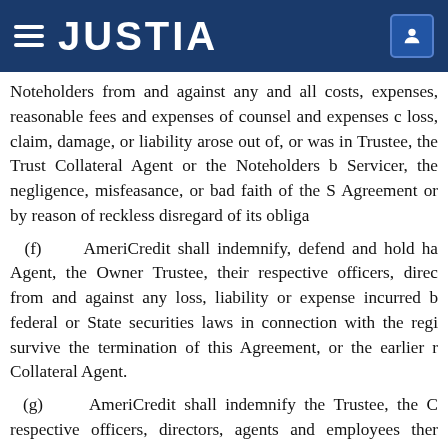JUSTIA
Noteholders from and against any and all costs, expenses, reasonable fees and expenses of counsel and expenses of loss, claim, damage, or liability arose out of, or was in Trustee, the Trust Collateral Agent or the Noteholders b Servicer, the negligence, misfeasance, or bad faith of the S Agreement or by reason of reckless disregard of its obliga
(f)    AmeriCredit shall indemnify, defend and hold ha Agent, the Owner Trustee, their respective officers, direc from and against any loss, liability or expense incurred b federal or State securities laws in connection with the regi survive the termination of this Agreement, or the earlier r Collateral Agent.
(g)    AmeriCredit shall indemnify the Trustee, the C respective officers, directors, agents and employees ther (including attorneys' fees and expenses) incurred by eac